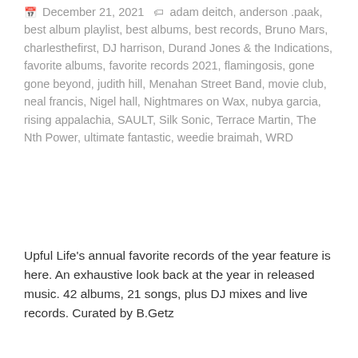December 21, 2021  adam deitch, anderson .paak, best album playlist, best albums, best records, Bruno Mars, charlesthefirst, DJ harrison, Durand Jones & the Indications, favorite albums, favorite records 2021, flamingosis, gone gone beyond, judith hill, Menahan Street Band, movie club, neal francis, Nigel hall, Nightmares on Wax, nubya garcia, rising appalachia, SAULT, Silk Sonic, Terrace Martin, The Nth Power, ultimate fantastic, weedie braimah, WRD
Upful Life's annual favorite records of the year feature is here. An exhaustive look back at the year in released music. 42 albums, 21 songs, plus DJ mixes and live records. Curated by B.Getz
Read more
[Figure (photo): Bottom strip showing album covers, partially visible. Includes what appears to be a 'BLACK' titled album on the left, a colorful illustrated album in the center, and another album on the right, all against a dark background.]